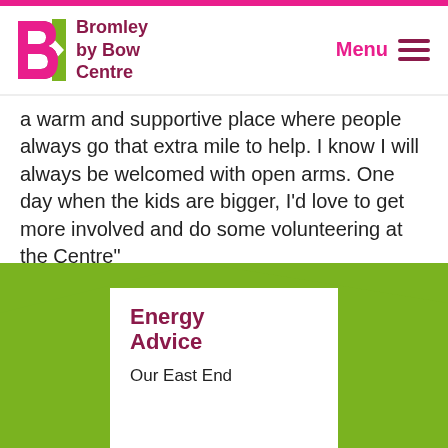Bromley by Bow Centre
a warm and supportive place where people always go that extra mile to help. I know I will always be welcomed with open arms. One day when the kids are bigger, I’d love to get more involved and do some volunteering at the Centre”
[Figure (illustration): Green banner section with white card containing Energy Advice section header and text]
Energy Advice
Our East End